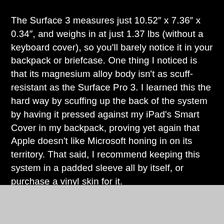The Surface 3 measures just 10.52" x 7.36" x 0.34", and weighs in at just 1.37 lbs (without a keyboard cover), so you'll barely notice it in your backpack or briefcase. One thing I noticed is that its magnesium alloy body isn't as scuff-resistant as the Surface Pro 3. I learned this the hard way by scuffing up the back of the system by having it pressed against my iPad's Smart Cover in my backpack, proving yet again that Apple doesn't like Microsoft honing in on its territory. That said, I recommend keeping this system in a padded sleeve all by itself, or purchase a vinyl skin for it.